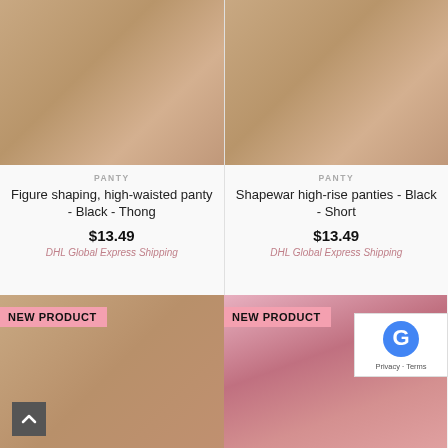[Figure (photo): Back view of woman in black bodysuit thong shapewear on beige background]
PANTY
Figure shaping, high-waisted panty - Black - Thong
$13.49
DHL Global Express Shipping
[Figure (photo): Two women wearing black high-rise shorts shapewear on beige background]
PANTY
Shapewar high-rise panties - Black - Short
$13.49
DHL Global Express Shipping
[Figure (photo): New product - two women on beige background, bottom of page left]
[Figure (photo): New product - woman on floral background, bottom of page right]
[Figure (logo): reCAPTCHA badge with Google logo]